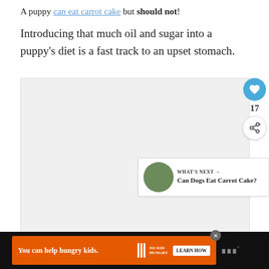A puppy can eat carrot cake but should not!
Introducing that much oil and sugar into a puppy's diet is a fast track to an upset stomach.
[Figure (photo): Placeholder image area for a puppy-related photo]
17
WHAT'S NEXT → Can Dogs Eat Carrot Cake?
You can help hungry kids. NO KID HUNGRY LEARN HOW